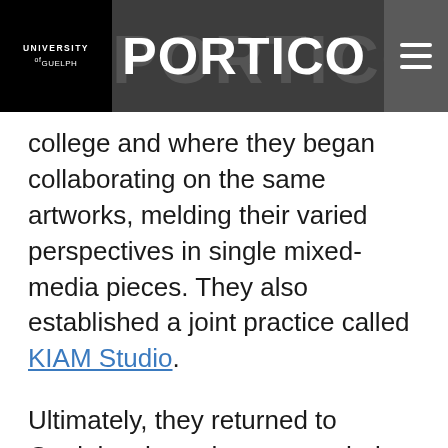UNIVERSITY OF GUELPH — PORTICO
college and where they began collaborating on the same artworks, melding their varied perspectives in single mixed-media pieces. They also established a joint practice called KIAM Studio.
Ultimately, they returned to Guelph, where they set up their Art in the Ward studio. They also reconnected with U of G as mentors for other students.
Nowakowski says that mentorship program helped her with everything from seeking grants to doing her taxes.